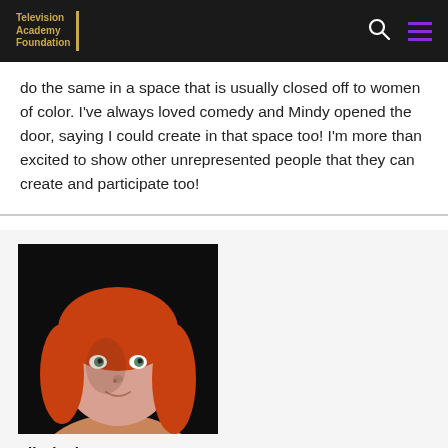Television Academy Foundation
do the same in a space that is usually closed off to women of color. I've always loved comedy and Mindy opened the door, saying I could create in that space too! I'm more than excited to show other unrepresented people that they can create and participate too!
[Figure (photo): Portrait photo of Elizabeth Fox, a young woman with red/orange hair and bangs against a dark background]
Elizabeth Fox
Stanford University
Graduation Year: 2022
Category: